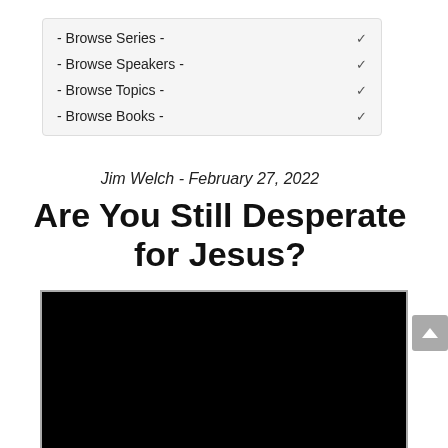- Browse Series -
- Browse Speakers -
- Browse Topics -
- Browse Books -
Jim Welch - February 27, 2022
Are You Still Desperate for Jesus?
[Figure (screenshot): Black video player embed area]